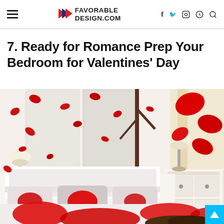FAVORABLE DESIGN.COM
7. Ready for Romance Prep Your Bedroom for Valentines' Day
[Figure (photo): A romantic bedroom scene decorated for Valentine's Day with red rose petals flying in the air, white bed with red floral bedding and pillows, white wooden furniture, and a nightstand with a lamp.]